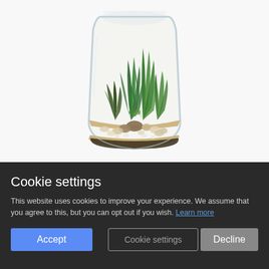[Figure (photo): A glass bottle terrarium containing succulents, small cacti, rocks, and pebbles arranged on a sandy base. The clear jar shows green plants including aloe-like and grass-like succulents against a white background.]
Cookie settings
This website uses cookies to improve your experience. We assume that you agree to this, but you can opt out if you wish. Learn more